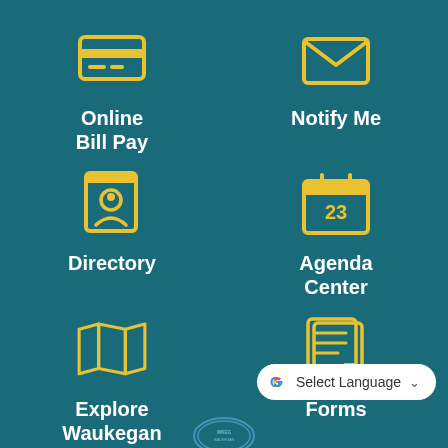[Figure (infographic): Yellow credit card icon representing Online Bill Pay]
Online
Bill Pay
[Figure (infographic): Yellow envelope/mail icon representing Notify Me]
Notify Me
[Figure (infographic): Yellow contact book/directory icon representing Directory]
Directory
[Figure (infographic): Yellow calendar icon showing 23 representing Agenda Center]
Agenda
Center
[Figure (infographic): Yellow folded map icon representing Explore Waukegan]
Explore
Waukegan
[Figure (infographic): Yellow document/forms icon representing Forms]
Forms
[Figure (infographic): Google Translate Select Language button]
[Figure (logo): City of Waukegan seal at bottom center]